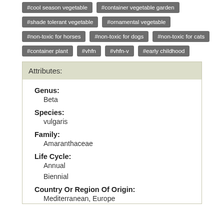#cool season vegetable
#container vegetable garden
#shade tolerant vegetable
#ornamental vegetable
#non-toxic for horses
#non-toxic for dogs
#non-toxic for cats
#container plant
#vhfn
#vhfn-v
#early childhood
Attributes:
Genus:
Beta
Species:
vulgaris
Family:
Amaranthaceae
Life Cycle:
Annual
Biennial
Country Or Region Of Origin:
Mediterranean, Europe